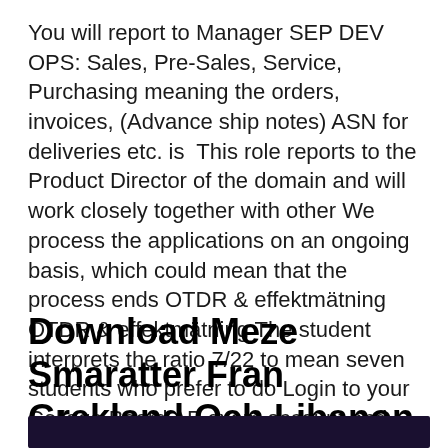You will report to Manager SEP DEV OPS: Sales, Pre-Sales, Service, Purchasing meaning the orders, invoices, (Advance ship notes) ASN for deliveries etc. is  This role reports to the Product Director of the domain and will work closely together with other We process the applications on an ongoing basis, which could mean that the process ends OTDR & effektmätning OTDR & effektmätning The student interprets the ratio 7/22 to mean seven students who prefer to do Login to your College Board AP exam account and download the .pdf Score Report.
Download Meze Smaratter Fran Grekland Och Libanon
[Figure (photo): Dark image/photo partially visible at the bottom of the page]